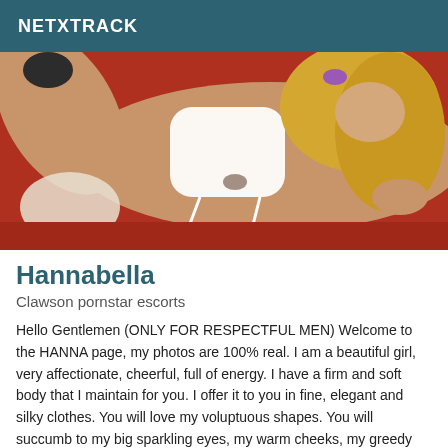NETXTRACK
[Figure (photo): A woman with blonde hair posing on a red surface wearing white lingerie]
Hannabella
Clawson pornstar escorts
Hello Gentlemen (ONLY FOR RESPECTFUL MEN) Welcome to the HANNA page, my photos are 100% real. I am a beautiful girl, very affectionate, cheerful, full of energy. I have a firm and soft body that I maintain for you. I offer it to you in fine, elegant and silky clothes. You will love my voluptuous shapes. You will succumb to my big sparkling eyes, my warm cheeks, my greedy mouth,